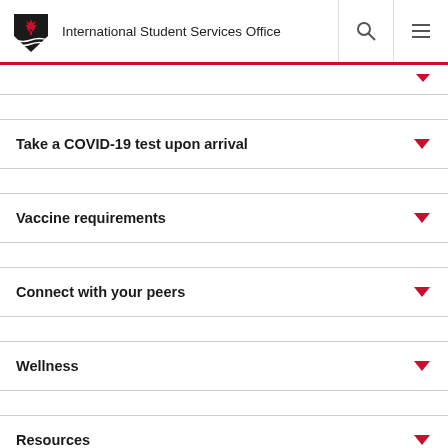International Student Services Office
Take a COVID-19 test upon arrival
Vaccine requirements
Connect with your peers
Wellness
Resources